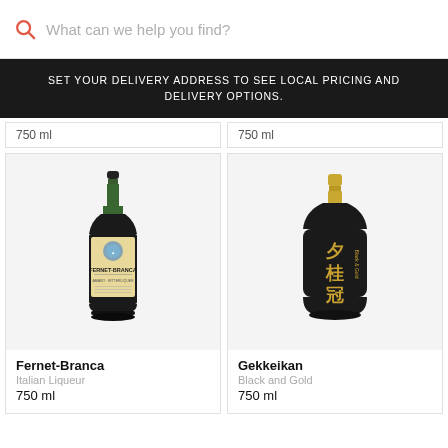What can we help you find?
SET YOUR DELIVERY ADDRESS TO SEE LOCAL PRICING AND DELIVERY OPTIONS.
750 ml | 750 ml
[Figure (photo): Bottle of Fernet-Branca Italian Liqueur 750 ml]
Fernet-Branca
Italian Liqueur
750 ml
[Figure (photo): Bottle of Gekkeikan Black and Gold 750 ml]
Gekkeikan
Black and Gold
750 ml